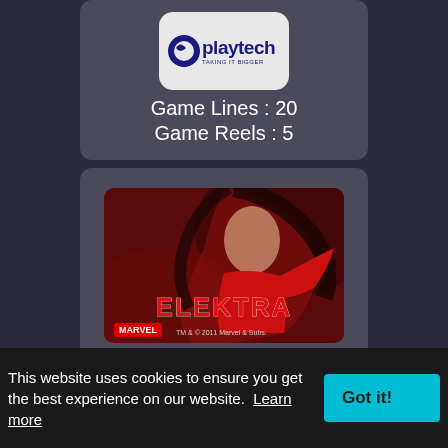[Figure (logo): Playtech logo in a rounded white box]
Game Lines : 20
Game Reels : 5
[Figure (photo): Elektra Marvel slot game thumbnail showing a dark-haired woman in red with the Elektra title logo]
Elektra
This website uses cookies to ensure you get the best experience on our website.  Learn more
Got it!